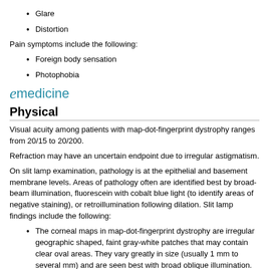Glare
Distortion
Pain symptoms include the following:
Foreign body sensation
Photophobia
[Figure (logo): eMedicine logo with stylized italic 'e' in teal and 'medicine' text in teal]
Physical
Visual acuity among patients with map-dot-fingerprint dystrophy ranges from 20/15 to 20/200.
Refraction may have an uncertain endpoint due to irregular astigmatism.
On slit lamp examination, pathology is at the epithelial and basement membrane levels. Areas of pathology often are identified best by broad-beam illumination, fluorescein with cobalt blue light (to identify areas of negative staining), or retroillumination following dilation. Slit lamp findings include the following:
The corneal maps in map-dot-fingerprint dystrophy are irregular geographic shaped, faint gray-white patches that may contain clear oval areas. They vary greatly in size (usually 1 mm to several mm) and are seen best with broad oblique illumination.